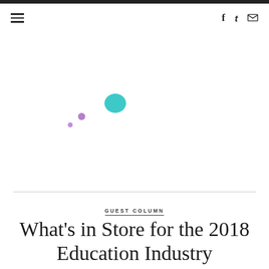≡  f  t  ✉
[Figure (illustration): Decorative illustration with scattered dots: one teal/cyan larger circle, one medium purple circle, and one small purple dot, arranged loosely in the upper-left quadrant area of a white background]
GUEST COLUMN
What's in Store for the 2018 Education Industry